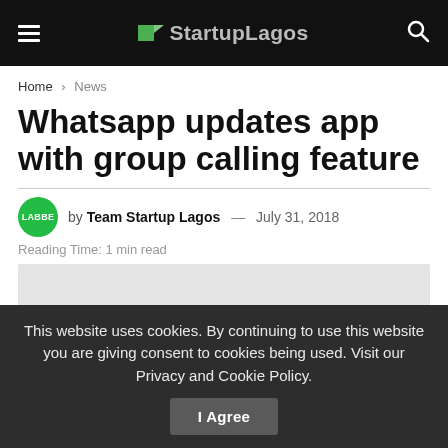StartupLagos
Home > News
Whatsapp updates app with group calling feature
by Team Startup Lagos — July 31, 2018
Reading Time: 1 min read
[Figure (other): Article image area with WhatsApp green circle icon partially visible at bottom]
This website uses cookies. By continuing to use this website you are giving consent to cookies being used. Visit our Privacy and Cookie Policy.